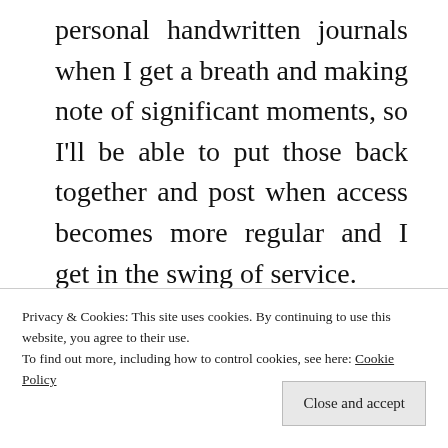personal handwritten journals when I get a breath and making note of significant moments, so I'll be able to put those back together and post when access becomes more regular and I get in the swing of service.
I'm loving Bemba and doing well in the language. Our first test is
Privacy & Cookies: This site uses cookies. By continuing to use this website, you agree to their use.
To find out more, including how to control cookies, see here: Cookie Policy
Close and accept
Miss everyone and the U.S. but I'm so